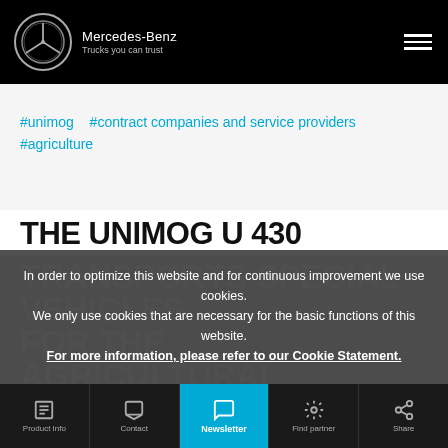Mercedes-Benz — Trucks you can trust
#unimog   #contract companies and service providers   #agriculture
THE UNIMOG U 430 TRANSPORTS SPECIAL VEHICLES FOR THE AGRICULTURAL COLLEGE IN… BONN
In order to optimize this website and for continuous improvement we use cookies. We only use cookies that are necessary for the basic functions of this website. For more information, please refer to our Cookie Statement.
Product Info   Contact   Newsletter   Find partner   Share